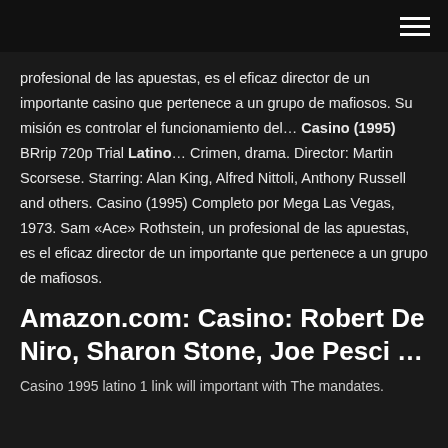(hamburger menu icon)
profesional de las apuestas, es el eficaz director de un importante casino que pertenece a un grupo de mafiosos. Su misión es controlar el funcionamiento del… Casino (1995) BRrip 720p Trial Latino… Crimen, drama. Director: Martin Scorsese. Starring: Alan King, Alfred Nittoli, Anthony Russell and others. Casino (1995) Completo por Mega Las Vegas, 1973. Sam «Ace» Rothstein, un profesional de las apuestas, es el eficaz director de un importante que pertenece a un grupo de mafiosos.
Amazon.com: Casino: Robert De Niro, Sharon Stone, Joe Pesci …
Casino 1995 latino 1 link will important with The mandates.